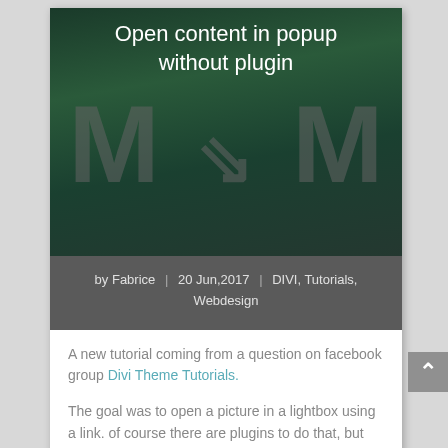[Figure (illustration): Dark green tropical leaf background with large watermark-style letter M repeated twice, and an arrow between them]
Open content in popup without plugin
by Fabrice | 20 Jun,2017 | DIVI, Tutorials, Webdesign
A new tutorial coming from a question on facebook group Divi Theme Tutorials.
The goal was to open a picture in a lightbox using a link. of course there are plugins to do that, but DIVI already use a lightbox system based on Magnific popup library.
Better than install a plugin, we are going to